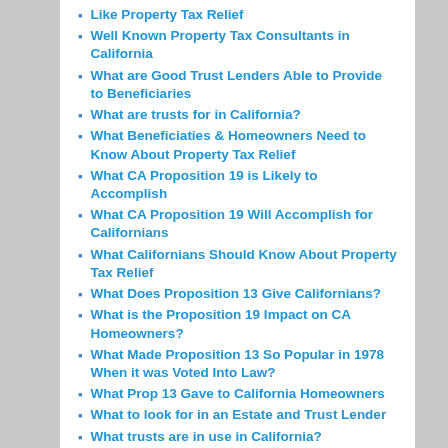Like Property Tax Relief
Well Known Property Tax Consultants in California
What are Good Trust Lenders Able to Provide to Beneficiaries
What are trusts for in California?
What Beneficiaties & Homeowners Need to Know About Property Tax Relief
What CA Proposition 19 is Likely to Accomplish
What CA Proposition 19 Will Accomplish for Californians
What Californians Should Know About Property Tax Relief
What Does Proposition 13 Give Californians?
What is the Proposition 19 Impact on CA Homeowners?
What Made Proposition 13 So Popular in 1978 When it was Voted Into Law?
What Prop 13 Gave to California Homeowners
What to look for in an Estate and Trust Lender
What trusts are in use in California?
What's Involved with Transferring Property Taxes from Parent to Child?